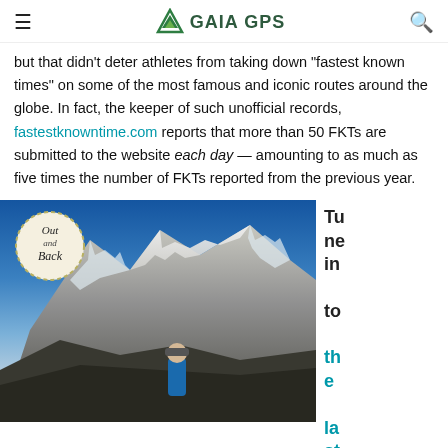GAIA GPS
but that didn't deter athletes from taking down "fastest known times" on some of the most famous and iconic routes around the globe. In fact, the keeper of such unofficial records, fastestknowntime.com reports that more than 50 FKTs are submitted to the website each day — amounting to as much as five times the number of FKTs reported from the previous year.
[Figure (photo): Mountain landscape with snow-capped peaks and a hiker in the foreground wearing a blue jacket and cap, with an 'Out and Back' podcast badge overlay in the top left corner.]
Tune in to the last ep